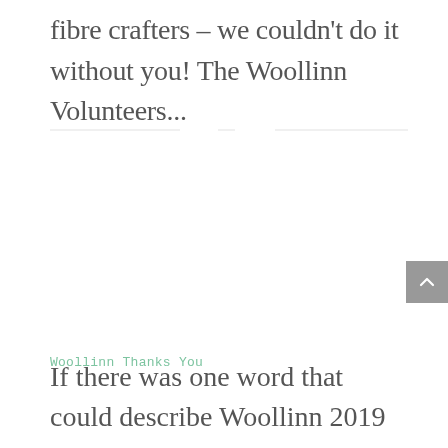fibre crafters – we couldn't do it without you! The Woollinn Volunteers...
[Figure (other): Decorative horizontal divider line]
Woollinn Thanks You
If there was one word that could describe Woollinn 2019